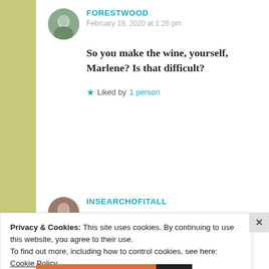FORESTWOOD
February 19, 2020 at 1:26 pm
So you make the wine, yourself, Marlene? Is that difficult?
Liked by 1 person
INSEARCHOFITALL
Privacy & Cookies: This site uses cookies. By continuing to use this website, you agree to their use.
To find out more, including how to control cookies, see here: Cookie Policy
Close and accept